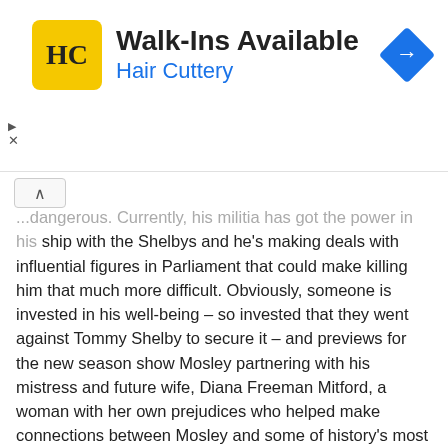[Figure (advertisement): Hair Cuttery advertisement banner with yellow HC logo, 'Walk-Ins Available' headline, 'Hair Cuttery' subtext in blue, and a blue navigation arrow icon on the right.]
...dangerous. Currently, his militia has got the power in his partnership with the Shelbys and he's making deals with influential figures in Parliament that could make killing him that much more difficult. Obviously, someone is invested in his well-being – so invested that they went against Tommy Shelby to secure it – and previews for the new season show Mosley partnering with his mistress and future wife, Diana Freeman Mitford, a woman with her own prejudices who helped make connections between Mosley and some of history's most evil figures – think Adolf Hitler and Joseph Goebbels. These two are likely to face off again in season six, but a Fascist poster boy isn't the only enemy Tommy needs to keep his eye on.
[Figure (other): Netflix image placeholder box with caption 'Netflix']
Netflix
Is Michael Gray trying to kill Tommy?